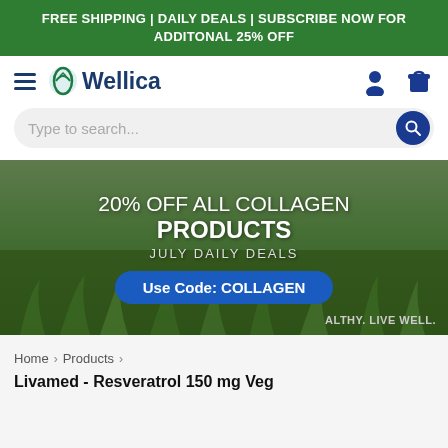FREE SHIPPING | DAILY DEALS | SUBSCRIBE NOW FOR ADDITONAL 25% OFF
[Figure (logo): Wellica logo with hamburger menu, user icon, and shopping bag icon on white navigation bar]
Type to search...
[Figure (photo): Hero banner with green field background. Text: 20% OFF ALL COLLAGEN PRODUCTS, JULY DAILY DEALS, Use Code: COLLAGEN. Tagline: HEALTHY. LIVE WELL.]
Home > Products >
Livamed - Resveratrol 150 mg Veg